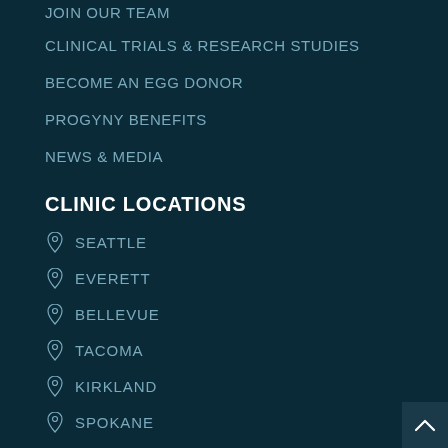JOIN OUR TEAM
CLINICAL TRIALS & RESEARCH STUDIES
BECOME AN EGG DONOR
PROGYNY BENEFITS
NEWS & MEDIA
CLINIC LOCATIONS
SEATTLE
EVERETT
BELLEVUE
TACOMA
KIRKLAND
SPOKANE